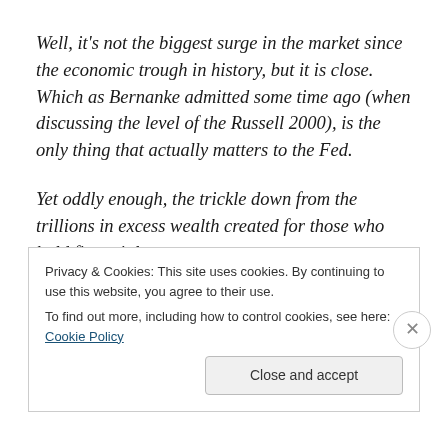Well, it's not the biggest surge in the market since the economic trough in history, but it is close. Which as Bernanke admitted some time ago (when discussing the level of the Russell 2000), is the only thing that actually matters to the Fed.
Yet oddly enough, the trickle down from the trillions in excess wealth created for those who hold financial assets,
Privacy & Cookies: This site uses cookies. By continuing to use this website, you agree to their use.
To find out more, including how to control cookies, see here: Cookie Policy